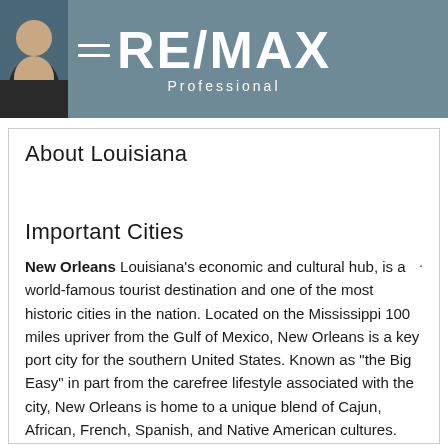RE/MAX Professional
About Louisiana
Important Cities
New Orleans Louisiana's economic and cultural hub, is a world-famous tourist destination and one of the most historic cities in the nation. Located on the Mississippi 100 miles upriver from the Gulf of Mexico, New Orleans is a key port city for the southern United States. Known as “the Big Easy” in part from the carefree lifestyle associated with the city, New Orleans is home to a unique blend of Cajun, African, French, Spanish, and Native American cultures. The weeks-long Mardi Gras celebration held throughout town is